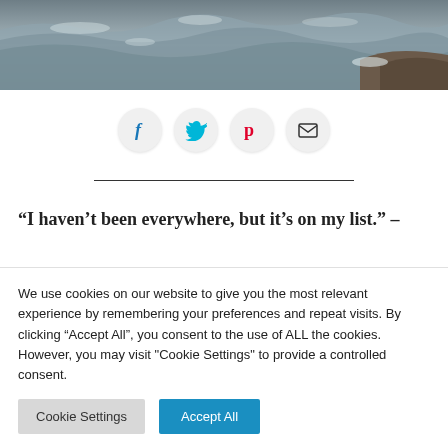[Figure (photo): Ocean waves crashing over rocks, dark stormy sea with foam and boulders visible]
[Figure (infographic): Row of four circular social sharing icon buttons: Facebook (f, blue), Twitter (bird, light blue), Pinterest (P, red), Email (envelope, black)]
"I haven’t been everywhere, but it’s on my list." –
We use cookies on our website to give you the most relevant experience by remembering your preferences and repeat visits. By clicking “Accept All”, you consent to the use of ALL the cookies. However, you may visit "Cookie Settings" to provide a controlled consent.